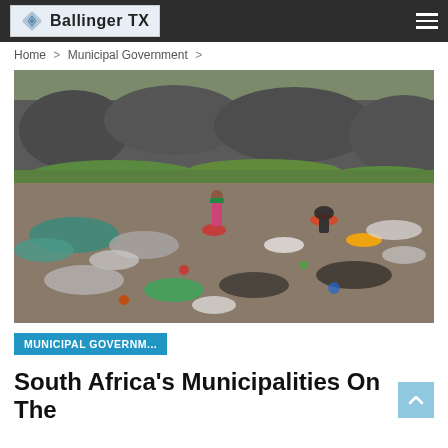Ballinger TX
Home > Municipal Government >
[Figure (photo): An outdoor littered landscape with scattered plastic bags, bottles, and garbage on a rocky ground. A person in a pink outfit stands in the middle distance, and another person bends over further back. Rocky cliffs and green grass are visible in the background.]
MUNICIPAL GOVERNM...
South Africa's Municipalities On The